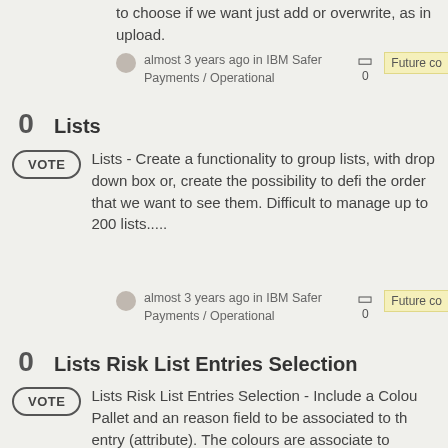to choose if we want just add or overwrite, as in upload.
almost 3 years ago in IBM Safer Payments / Operational  0  Future co
0  Lists
Lists - Create a functionality to group lists, with drop down box or, create the possibility to defi the order that we want to see them. Difficult to manage up to 200 lists.....
almost 3 years ago in IBM Safer Payments / Operational  0  Future co
0  Lists Risk List Entries Selection
Lists Risk List Entries Selection - Include a Colour Pallet and an reason field to be associated to the entry (attribute). The colours are associate to specific actions that the analyst must done – blo card/merchant, call police, call merchant, ...
almost 3 years ago in IBM Safer  Future co